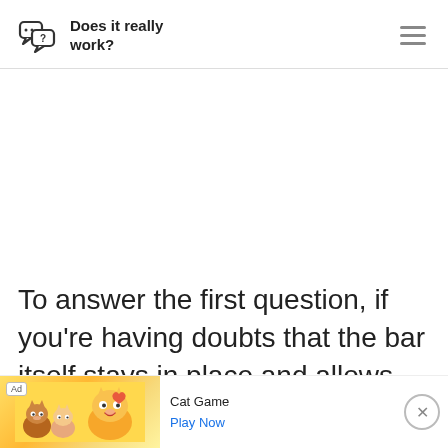Does it really work?
To answer the first question, if you’re having doubts that the bar itself stays in place and allows you to perform the exercise.
[Figure (screenshot): Advertisement banner for Cat Game app with animated cat characters on a yellow/orange background, Ad badge, 'Cat Game' title text, and 'Play Now' link in blue. A close (X) button appears on the right.]